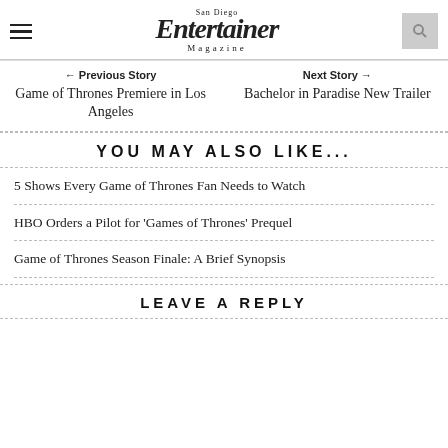San Diego Entertainer Magazine
← Previous Story
Game of Thrones Premiere in Los Angeles
Next Story →
Bachelor in Paradise New Trailer
YOU MAY ALSO LIKE...
5 Shows Every Game of Thrones Fan Needs to Watch
HBO Orders a Pilot for 'Games of Thrones' Prequel
Game of Thrones Season Finale: A Brief Synopsis
LEAVE A REPLY